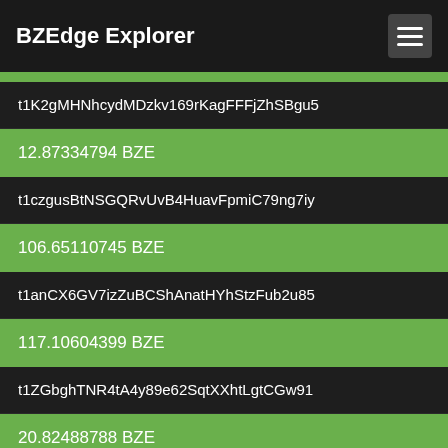BZEdge Explorer
t1K2gMHNhcydMDzkv169rKagFFFjZhSBgu5
12.87334794 BZE
t1czgusBtNSGQRvUvB4HuavFpmiC79ng7iy
106.65110745 BZE
t1anCX6GV7izZuBCShAnatHYhStzFub2u85
117.10604399 BZE
t1ZGbghTNR4tA4y89e62SqtXXhtLgtCGw91
20.82488788 BZE
t1KirWEnNe3nj617YMKi1eWTvwJExdWT8Tc
92.44050289 BZE
t1eu66W1LSGGUD3BBum2CUYXqKSvufkE2Cy